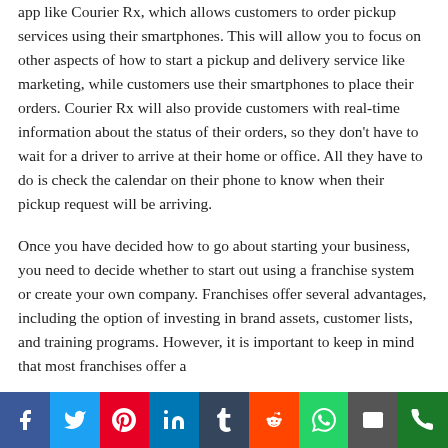app like Courier Rx, which allows customers to order pickup services using their smartphones. This will allow you to focus on other aspects of how to start a pickup and delivery service like marketing, while customers use their smartphones to place their orders. Courier Rx will also provide customers with real-time information about the status of their orders, so they don't have to wait for a driver to arrive at their home or office. All they have to do is check the calendar on their phone to know when their pickup request will be arriving.
Once you have decided how to go about starting your business, you need to decide whether to start out using a franchise system or create your own company. Franchises offer several advantages, including the option of investing in brand assets, customer lists, and training programs. However, it is important to keep in mind that most franchises offer a